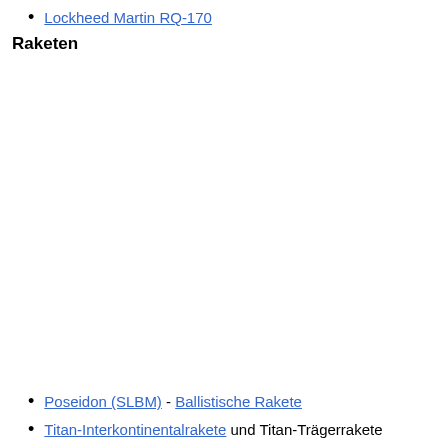Lockheed Martin RQ-170
Raketen
Poseidon (SLBM) - Ballistische Rakete
Titan-Interkontinentalrakete und Titan-Trägerrakete